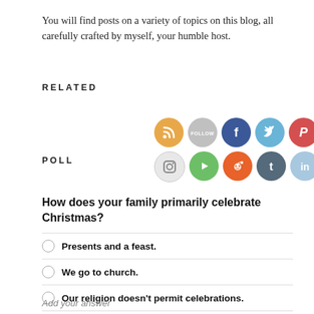You will find posts on a variety of topics on this blog, all carefully crafted by myself, your humble host.
RELATED
[Figure (infographic): Two rows of social media icon circles: RSS (orange), Follow (gray), Facebook (blue), Twitter (light blue), Pinterest (red); Instagram (light gray), YouTube/play (green), Reddit (orange), Tumblr (dark gray), LinkedIn (light blue)]
POLL
How does your family primarily celebrate Christmas?
Presents and a feast.
We go to church.
Our religion doesn't permit celebrations.
Add your answer